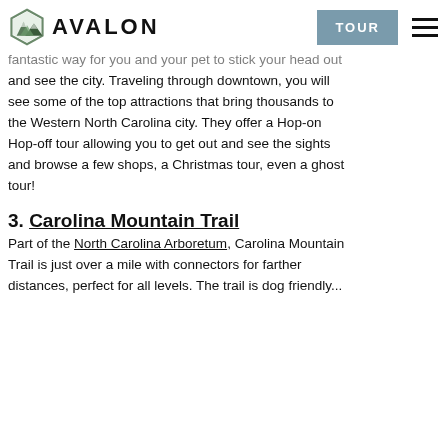AVALON | TOUR
fantastic way for you and your pet to stick your head out and see the city. Traveling through downtown, you will see some of the top attractions that bring thousands to the Western North Carolina city. They offer a Hop-on Hop-off tour allowing you to get out and see the sights and browse a few shops, a Christmas tour, even a ghost tour!
3. Carolina Mountain Trail
Part of the North Carolina Arboretum, Carolina Mountain Trail is just over a mile with connectors for farther distances, perfect for all levels. The trail is dog friendly...